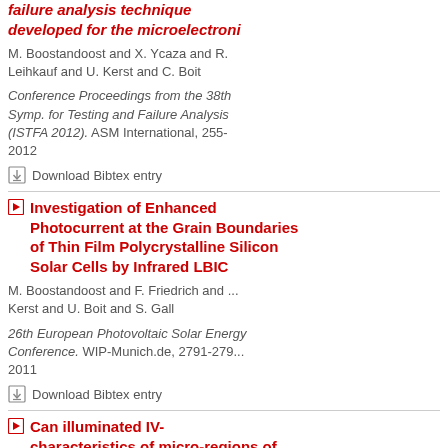failure analysis technique developed for the microelectronics...
M. Boostandoost and X. Ycaza and R. Leihkauf and U. Kerst and C. Boit
Conference Proceedings from the 38th Symp. for Testing and Failure Analysis (ISTFA 2012). ASM International, 255-... 2012
Download Bibtex entry
Investigation of Enhanced Photocurrent at the Grain Boundaries of Thin Film Polycrystalline Silicon Solar Cells by Infrared LBIC
M. Boostandoost and F. Friedrich and ... Kerst and U. Boit and S. Gall
26th European Photovoltaic Solar Energy Conference. WIP-Munich.de, 2791-279... 2011
Download Bibtex entry
Can illuminated IV-characteristics of micro-regions of solar cells be measured by laser-induced stimulation?
M. Boostandoost and A. Glowacki...